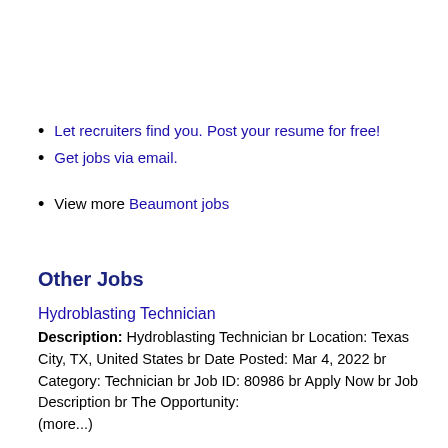Let recruiters find you. Post your resume for free!
Get jobs via email.
View more Beaumont jobs
Other Jobs
Hydroblasting Technician
Description: Hydroblasting Technician br Location: Texas City, TX, United States br Date Posted: Mar 4, 2022 br Category: Technician br Job ID: 80986 br Apply Now br Job Description br The Opportunity: (more...)